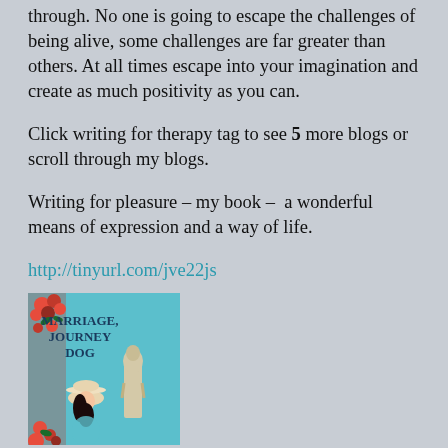through. No one is going to escape the challenges of being alive, some challenges are far greater than others. At all times escape into your imagination and create as much positivity as you can.
Click writing for therapy tag to see 5 more blogs or scroll through my blogs.
Writing for pleasure – my book –  a wonderful means of expression and a way of life.
http://tinyurl.com/jve22js
[Figure (photo): Book cover of 'Marriage, Journey Dog' featuring a woman in a hat and a statue on a teal background with roses]